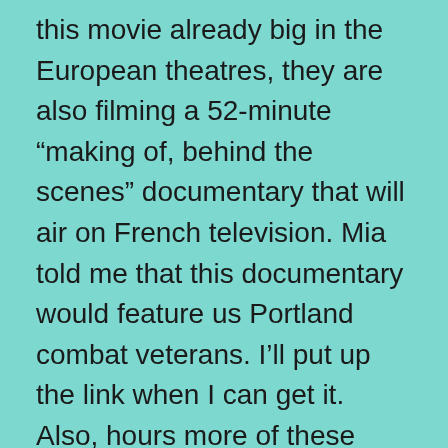this movie already big in the European theatres, they are also filming a 52-minute “making of, behind the scenes” documentary that will air on French television. Mia told me that this documentary would feature us Portland combat veterans. I’ll put up the link when I can get it. Also, hours more of these interviews will be playing in museums and art galleries around the world as an exhibit, so the interviews that were cut (the other five combat veterans, Cameron Diaz, Bill Gates, et cetera) will be shown as well. This is not over. Be on the lookout for HUMAN the Exhibit coming soon to your town.